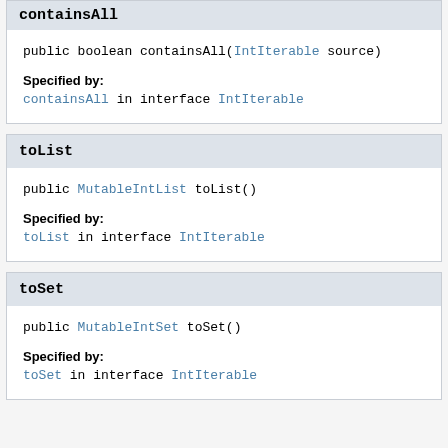containsAll
public boolean containsAll(IntIterable source)
Specified by:
containsAll in interface IntIterable
toList
public MutableIntList toList()
Specified by:
toList in interface IntIterable
toSet
public MutableIntSet toSet()
Specified by:
toSet in interface IntIterable